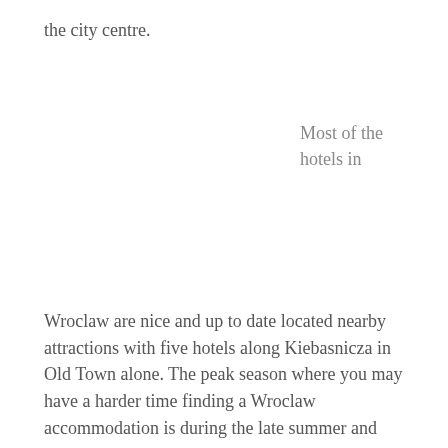the city centre.
Most of the hotels in
Wroclaw are nice and up to date located nearby attractions with five hotels along Kiebasnicza in Old Town alone. The peak season where you may have a harder time finding a Wroclaw accommodation is during the late summer and